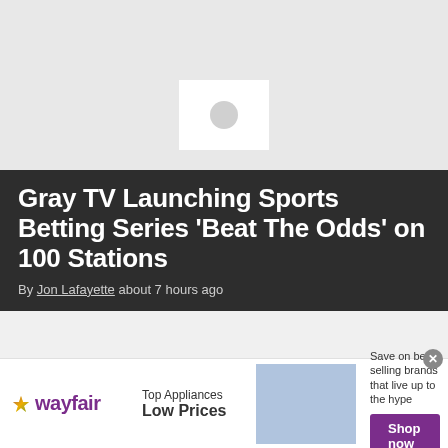[Figure (photo): Top image placeholder area with a white card icon in the center-bottom]
Gray TV Launching Sports Betting Series ‘Beat The Odds’ on 100 Stations
By Jon Lafayette about 7 hours ago
[Figure (photo): Middle image placeholder area with a light gray card icon]
[Figure (other): Wayfair advertisement banner: Top Appliances Low Prices, Save on best selling brands that live up to the hype, Shop now button]